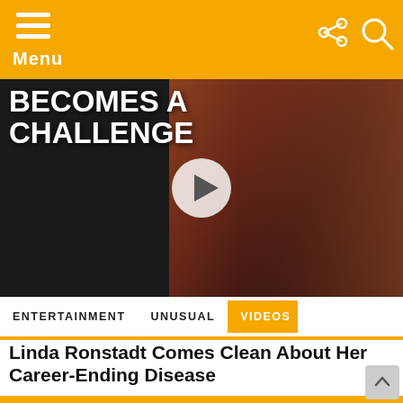Menu
[Figure (screenshot): Video thumbnail with text 'EVERYTHING BECOMES A CHALLENGE' overlaid on image of woman, with play button]
ENTERTAINMENT   UNUSUAL   VIDEOS
Linda Ronstadt Comes Clean About Her Career-Ending Disease
[Figure (screenshot): Video thumbnail with text '9 ACTOR DIES ON A POPULAR TELEVISION SERIES' overlaid on black and white image of two women, with play button]